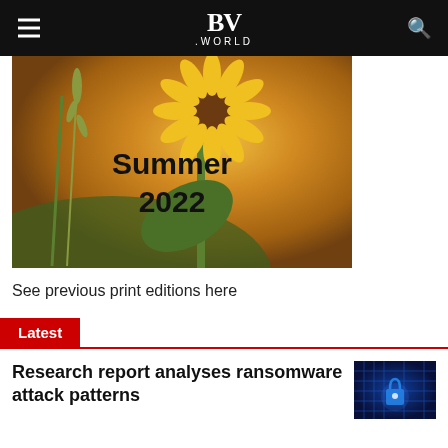BV .WORLD
[Figure (photo): Sunflower photo with text overlay reading 'Summer 2022' against a warm sunset background with green leaves and wheat stalks]
See previous print editions here
Latest
Research report analyses ransomware attack patterns
[Figure (photo): Blue-toned image of a circuit board with a padlock icon, representing cybersecurity]